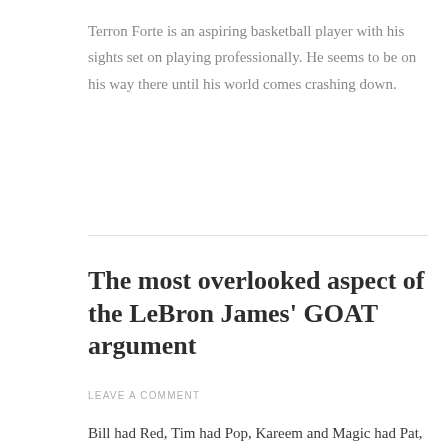Terron Forte is an aspiring basketball player with his sights set on playing professionally. He seems to be on his way there until his world comes crashing down.
The most overlooked aspect of the LeBron James’ GOAT argument
LEAVE A COMMENT
Bill had Red, Tim had Pop, Kareem and Magic had Pat, and Kobe and Michael had Phil, and LeBron had Lue. LeBron’s lack of elite coaching is an undeniable fact of his career. It’s time to look at it for what it is, one of the best...